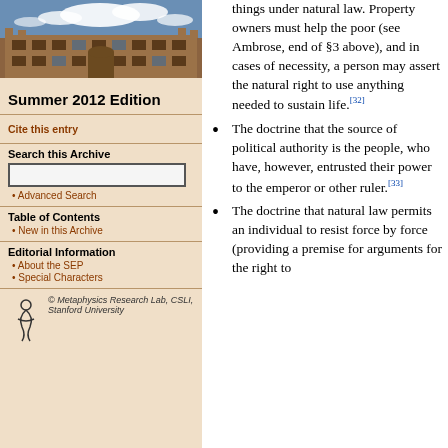[Figure (photo): Photograph of a historic stone university building with courtyard, blue sky with clouds]
Summer 2012 Edition
Cite this entry
Search this Archive
Advanced Search
Table of Contents
New in this Archive
Editorial Information
About the SEP
Special Characters
© Metaphysics Research Lab, CSLI, Stanford University
things under natural law. Property owners must help the poor (see Ambrose, end of §3 above), and in cases of necessity, a person may assert the natural right to use anything needed to sustain life.[32]
The doctrine that the source of political authority is the people, who have, however, entrusted their power to the emperor or other ruler.[33]
The doctrine that natural law permits an individual to resist force by force (providing a premise for arguments for the right to